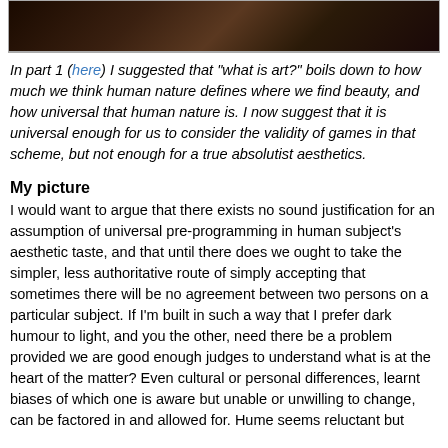[Figure (photo): Photograph of dark bookshelves or interior scene, partially cropped at top of page]
In part 1 (here) I suggested that "what is art?" boils down to how much we think human nature defines where we find beauty, and how universal that human nature is. I now suggest that it is universal enough for us to consider the validity of games in that scheme, but not enough for a true absolutist aesthetics.
My picture
I would want to argue that there exists no sound justification for an assumption of universal pre-programming in human subject's aesthetic taste, and that until there does we ought to take the simpler, less authoritative route of simply accepting that sometimes there will be no agreement between two persons on a particular subject. If I'm built in such a way that I prefer dark humour to light, and you the other, need there be a problem provided we are good enough judges to understand what is at the heart of the matter? Even cultural or personal differences, learnt biases of which one is aware but unable or unwilling to change, can be factored in and allowed for. Hume seems reluctant but committed to claiming not the same conclusion as